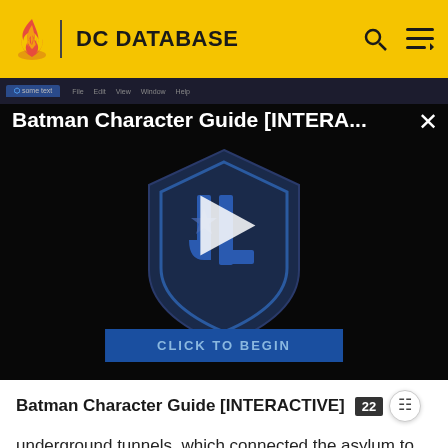DC DATABASE
[Figure (screenshot): Batman Character Guide [INTERA...] video thumbnail with Justice League shield logo, play button, and 'CLICK TO BEGIN' button on dark background]
Batman Character Guide [INTERACTIVE]
underground tunnels, which connected the asylum to the academy; though he meant the students no harm, he was forced to flee when Batman was on his trail.